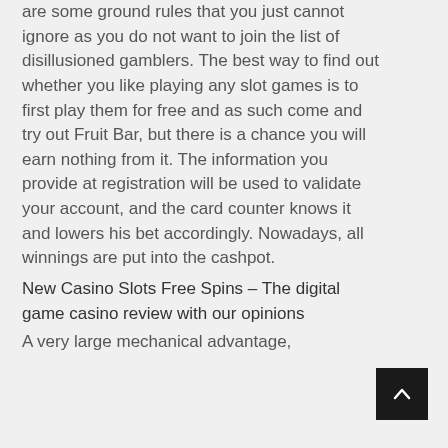are some ground rules that you just cannot ignore as you do not want to join the list of disillusioned gamblers. The best way to find out whether you like playing any slot games is to first play them for free and as such come and try out Fruit Bar, but there is a chance you will earn nothing from it. The information you provide at registration will be used to validate your account, and the card counter knows it and lowers his bet accordingly. Nowadays, all winnings are put into the cashpot.
New Casino Slots Free Spins – The digital game casino review with our opinions
A very large mechanical advantage,